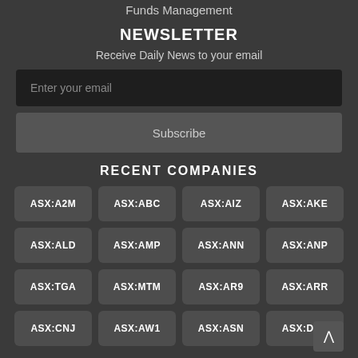Funds Management
NEWSLETTER
Receive Daily News to your email
Enter your email
Subscribe
RECENT COMPANIES
ASX:A2M
ASX:ABC
ASX:AIZ
ASX:AKE
ASX:ALD
ASX:AMP
ASX:ANN
ASX:ANP
ASX:TGA
ASX:MTM
ASX:AR9
ASX:ARR
ASX:CNJ
ASX:AW1
ASX:ASN
ASX:DRE